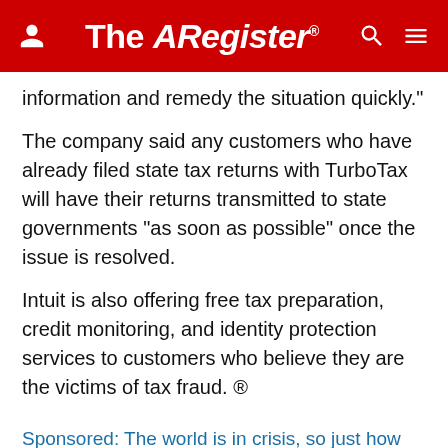The Register
information and remedy the situation quickly."
The company said any customers who have already filed state tax returns with TurboTax will have their returns transmitted to state governments "as soon as possible" once the issue is resolved.
Intuit is also offering free tax preparation, credit monitoring, and identity protection services to customers who believe they are the victims of tax fraud. ®
Sponsored: The world is in crisis, so just how can AI help?